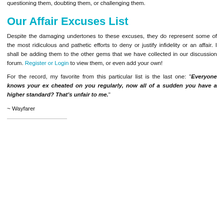you that you're being too demanding by asking that they help with the kids, so your partner needs to go out without you to get away from your controlling nature.
On their own, these things may well have some validity, and may not be seen as particularly damaging - and that is why gaslighting is so effective. You perhaps see a small grain of truth, or you want to make your partner happy, so you buy what they're saying. As an overall strategy, the constant drip drip drip of their negative narrative can eventually erode your sense of normality and replace it with their altered version.
Gaslighting is essentially camouflage, designed to make you feel nuts for questioning them, doubting them, or challenging them.
Our Affair Excuses List
Despite the damaging undertones to these excuses, they do represent some of the most ridiculous and pathetic efforts to deny or justify infidelity or an affair. I shall be adding them to the other gems that we have collected in our discussion forum. Register or Login to view them, or even add your own!
For the record, my favorite from this particular list is the last one: "Everyone knows your ex cheated on you regularly, now all of a sudden you have a higher standard? That's unfair to me."
~ Wayfarer